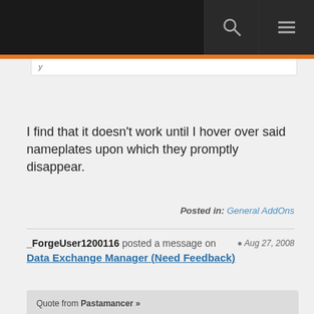[navigation bar with search and menu icons]
I find that it doesn't work until I hover over said nameplates upon which they promptly disappear.
Posted in: General AddOns
_ForgeUser1200116 posted a message on Data Exchange Manager (Need Feedback) Aug 27, 2008
Quote from Pastamancer »
How about using it to share settings instead of addons?
Having trouble with Grid? No problem, I'll just send you my profile!